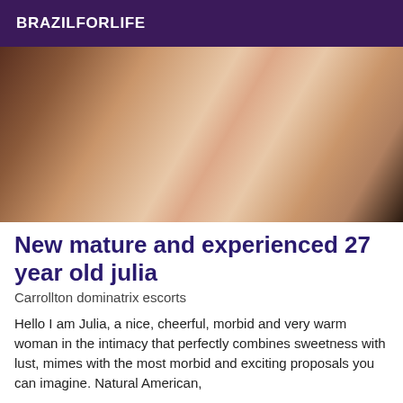BRAZILFORLIFE
[Figure (photo): Close-up photo of a woman with curly dark hair]
New mature and experienced 27 year old julia
Carrollton dominatrix escorts
Hello I am Julia, a nice, cheerful, morbid and very warm woman in the intimacy that perfectly combines sweetness with lust, mimes with the most morbid and exciting proposals you can imagine. Natural American,